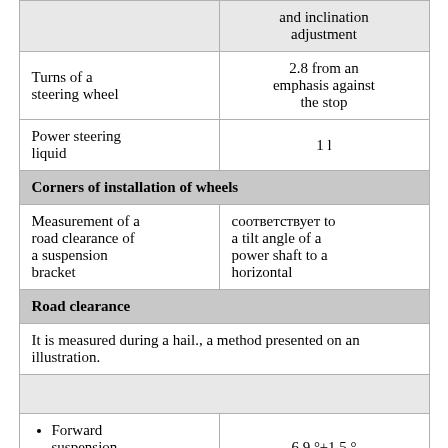|  | and inclination adjustment |
| Turns of a steering wheel | 2.8 from an emphasis against the stop |
| Power steering liquid | 1 l |
| Corners of installation of wheels |  |
| Measurement of a road clearance of a suspension bracket | соответствует to a tilt angle of a power shaft to a horizontal |
| Road clearance |  |
| It is measured during a hail., a method presented on an illustration. |  |
|  |  |
| • Forward suspension bracket | 6.9 °±1.5 ° |